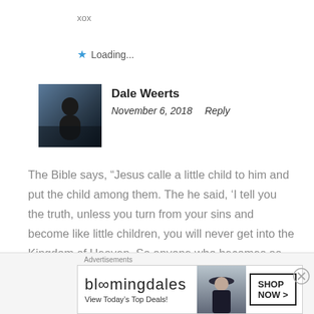xox
Loading...
[Figure (photo): Avatar photo of a dark silhouetted figure against a blue-grey window background]
Dale Weerts
November 6, 2018   Reply
The Bible says, “Jesus calle a little child to him and put the child among them. The he said, ‘I tell you the truth, unless you turn from your sins and become like little children, you will never get into the Kingdom of Heaven. So anyone who becomes as humble as this little child is the greatest in the Kingdom of Heaven. And anyone who
Advertisements
[Figure (other): Bloomingdale's advertisement banner with text 'View Today's Top Deals!' and 'SHOP NOW >' button and model with large hat]